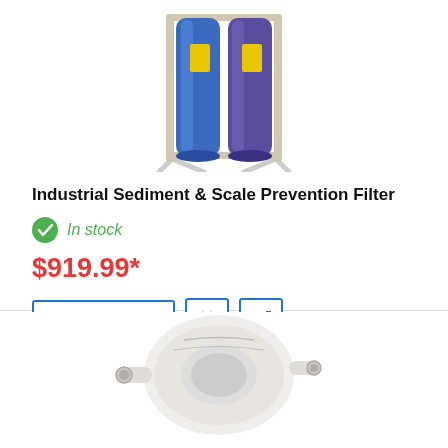[Figure (photo): Industrial blue water filter unit with two tall blue cylinders on a metal stand]
Industrial Sediment & Scale Prevention Filter
In stock
$919.99*
[Figure (photo): White round water filter housing with inlet/outlet ports, viewed from top]